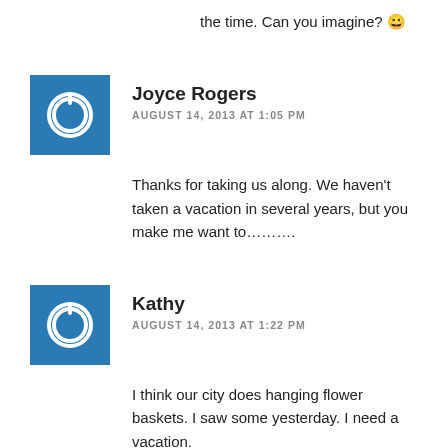the time. Can you imagine? 😁
Joyce Rogers
AUGUST 14, 2013 AT 1:05 PM
Thanks for taking us along. We haven't taken a vacation in several years, but you make me want to……….
Kathy
AUGUST 14, 2013 AT 1:22 PM
I think our city does hanging flower baskets. I saw some yesterday. I need a vacation.